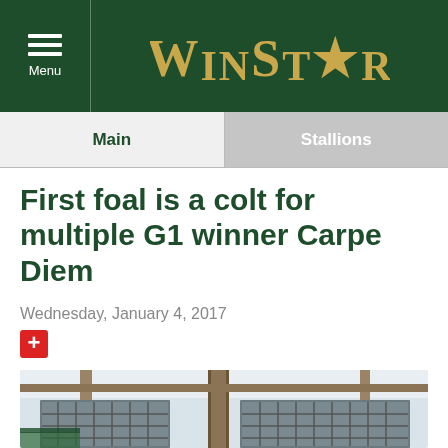WinStar — Menu / Main / Stallions navigation header
First foal is a colt for multiple G1 winner Carpe Diem
Wednesday, January 4, 2017
[Figure (photo): Interior of a horse barn showing wooden beams, stall windows with metal grilles, and a stable structure photographed from inside.]